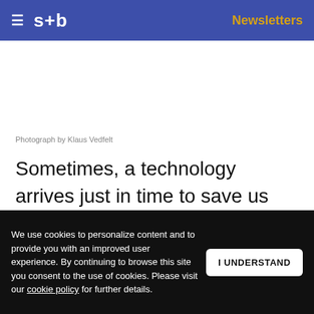s+b  Newsletters
Photograph by Klaus Vedfelt
Sometimes, a technology arrives just in time to save us from a problem that the technology wasn't created to solve. In the early 1900s, for instance, the automobile came along just as burgeoning cities became alarmed that an
We use cookies to personalize content and to provide you with an improved user experience. By continuing to browse this site you consent to the use of cookies. Please visit our cookie policy for further details.